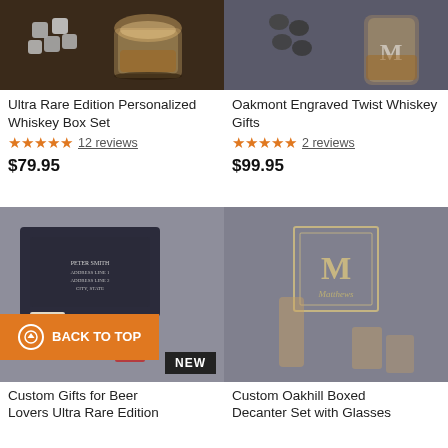[Figure (photo): Photo of whiskey stones and glass tumbler on dark wood surface]
Ultra Rare Edition Personalized Whiskey Box Set
★★★★★ 12 reviews
$79.95
[Figure (photo): Photo of Oakmont engraved twist whiskey glass with stones on grey background]
Oakmont Engraved Twist Whiskey Gifts
★★★★★ 2 reviews
$99.95
[Figure (photo): Photo of custom gifts beer lovers ultra rare edition box set with beer mug and playing cards, NEW badge, BACK TO TOP button overlay]
Custom Gifts for Beer Lovers Ultra Rare Edition
[Figure (photo): Photo of Custom Oakhill Boxed Decanter Set with Glasses, monogram M Matthews label visible]
Custom Oakhill Boxed Decanter Set with Glasses